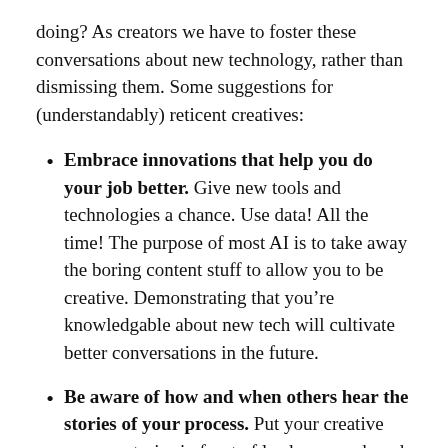doing? As creators we have to foster these conversations about new technology, rather than dismissing them. Some suggestions for (understandably) reticent creatives:
Embrace innovations that help you do your job better. Give new tools and technologies a chance. Use data! All the time! The purpose of most AI is to take away the boring content stuff to allow you to be creative. Demonstrating that you’re knowledgable about new tech will cultivate better conversations in the future.
Be aware of how and when others hear the stories of your process. Put your creative process stories in front of leaders… and read their reactions. Throw some business value in your explanations. Make it clear you have a good